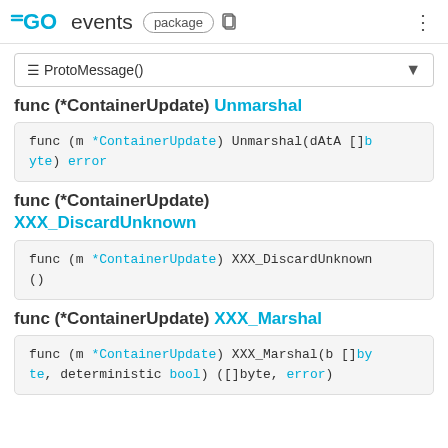GO events package
≡ ProtoMessage()
func (*ContainerUpdate) Unmarshal
func (*ContainerUpdate) XXX_DiscardUnknown
func (*ContainerUpdate) XXX_Marshal